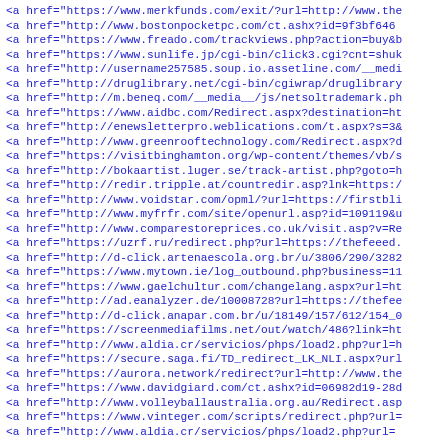A list of HTML anchor tags with href attributes pointing to various redirect and tracking URLs across multiple domains.